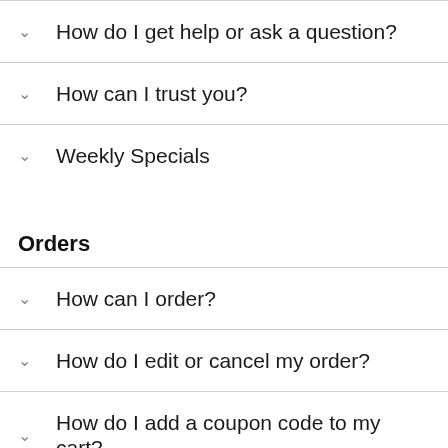How do I get help or ask a question?
How can I trust you?
Weekly Specials
Orders
How can I order?
How do I edit or cancel my order?
How do I add a coupon code to my cart?
An item I've ordered before isn't on the site, where did it go?